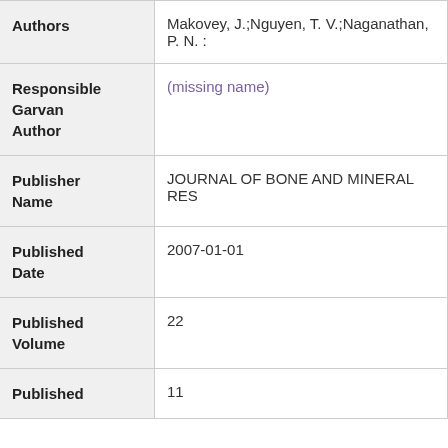| Field | Value |
| --- | --- |
| Authors | Makovey, J.;Nguyen, T. V.;Naganathan, P. N. : |
| Responsible Garvan Author | (missing name) |
| Publisher Name | JOURNAL OF BONE AND MINERAL RES |
| Published Date | 2007-01-01 |
| Published Volume | 22 |
| Published | 11 |